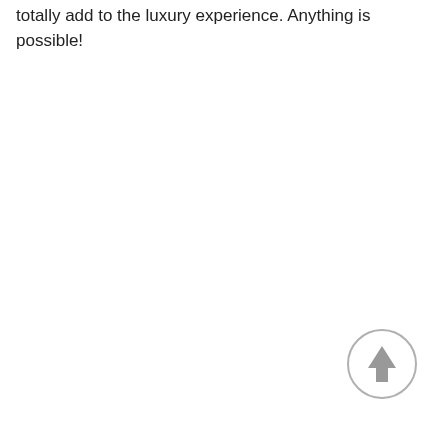totally add to the luxury experience. Anything is possible!
[Figure (other): A circular back-to-top button with a grey border and an upward-pointing arrow icon in the lower right area of the page.]